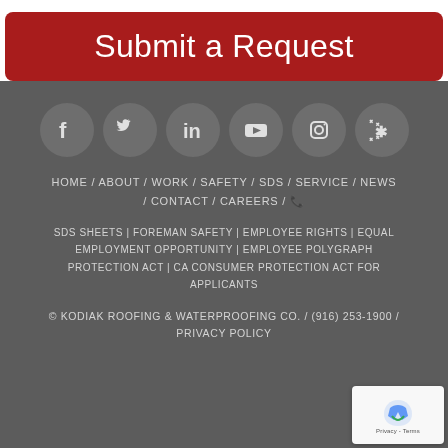Submit a Request
[Figure (infographic): Social media icons row: Facebook, Twitter, LinkedIn, YouTube, Instagram, Yelp — each in a dark grey circle]
HOME / ABOUT / WORK / SAFETY / SDS / SERVICE / NEWS / CONTACT / CAREERS / 📞
SDS SHEETS | FOREMAN SAFETY | EMPLOYEE RIGHTS | EQUAL EMPLOYMENT OPPORTUNITY | EMPLOYEE POLYGRAPH PROTECTION ACT | CA CONSUMER PROTECTION ACT FOR APPLICANTS
© KODIAK ROOFING & WATERPROOFING CO. / (916) 253-1900 / PRIVACY POLICY